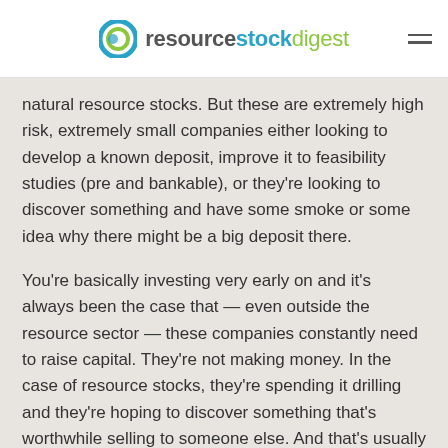resourcestockdigest
natural resource stocks. But these are extremely high risk, extremely small companies either looking to develop a known deposit, improve it to feasibility studies (pre and bankable), or they're looking to discover something and have some smoke or some idea why there might be a big deposit there.
You're basically investing very early on and it's always been the case that — even outside the resource sector — these companies constantly need to raise capital. They're not making money. In the case of resource stocks, they're spending it drilling and they're hoping to discover something that's worthwhile selling to someone else. And that's usually why the resource investor is